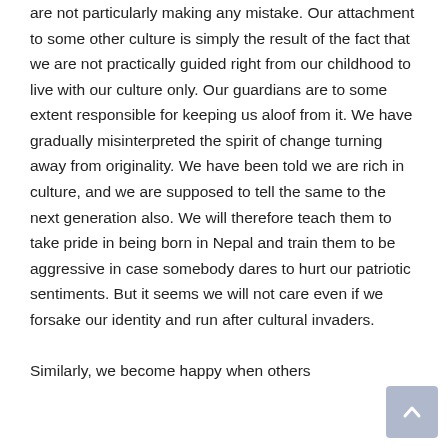are not particularly making any mistake. Our attachment to some other culture is simply the result of the fact that we are not practically guided right from our childhood to live with our culture only. Our guardians are to some extent responsible for keeping us aloof from it. We have gradually misinterpreted the spirit of change turning away from originality. We have been told we are rich in culture, and we are supposed to tell the same to the next generation also. We will therefore teach them to take pride in being born in Nepal and train them to be aggressive in case somebody dares to hurt our patriotic sentiments. But it seems we will not care even if we forsake our identity and run after cultural invaders.
Similarly, we become happy when others